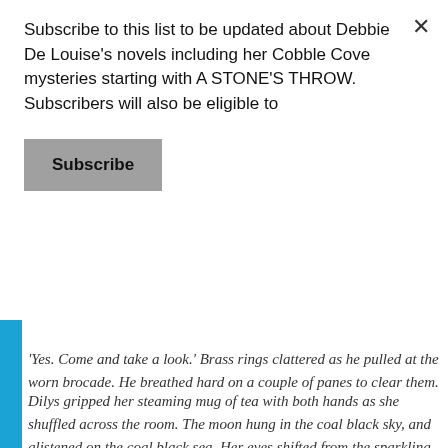Subscribe to this list to be updated about Debbie De Louise's novels including her Cobble Cove mysteries starting with A STONE'S THROW. Subscribers will also be eligible to
Subscribe
cold. All the way up there? No.
'Yes. Come and take a look.' Brass rings clattered as he pulled at the worn brocade. He breathed hard on a couple of panes to clear them.
Dilys gripped her steaming mug of tea with both hands as she shuffled across the room. The moon hung in the coal black sky, and glistened on the coal black sea. Her eyes shifted from the sparkling surf to the inky hillside above. 'That's up by the old RAF
listening station. In the shadows, it there...